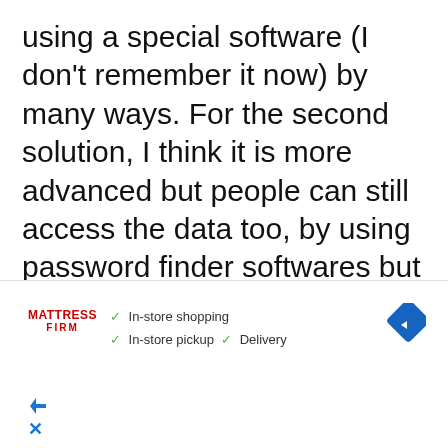using a special software (I don't remember it now) by many ways. For the second solution, I think it is more advanced but people can still access the data too, by using password finder softwares but much more difficult to do. However, these softwares can only work on common encrypter softwares (like WinRar or so), so to prevent thieves, I recommend using rare encryption formats (like
[Figure (other): Advertisement overlay for Mattress Firm showing In-store shopping, In-store pickup, and Delivery options with checkmarks, a navigation/direction diamond icon, a play button, and a close (X) button.]